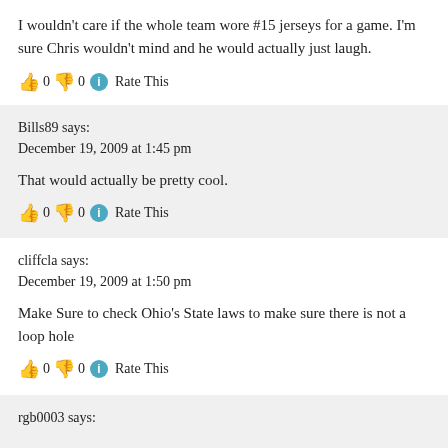I wouldn't care if the whole team wore #15 jerseys for a game. I'm sure Chris wouldn't mind and he would actually just laugh.
👍 0 👎 0 ℹ Rate This
Bills89 says:
December 19, 2009 at 1:45 pm
That would actually be pretty cool.
👍 0 👎 0 ℹ Rate This
cliffcla says:
December 19, 2009 at 1:50 pm
Make Sure to check Ohio's State laws to make sure there is not a loop hole
👍 0 👎 0 ℹ Rate This
rgb0003 says: